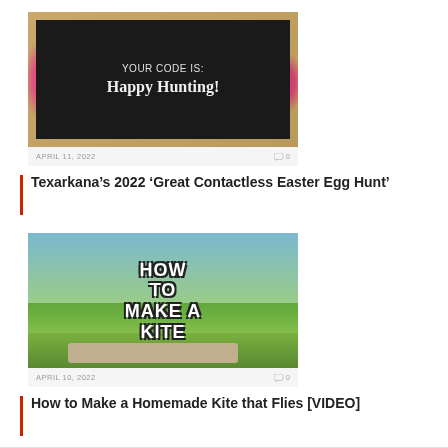[Figure (photo): Chalkboard sign reading 'YOUR CODE IS: Happy Hunting!' with pink floral decorations around it]
APRIL 11, 2022   0
Texarkana’s 2022 ‘Great Contactless Easter Egg Hunt’
[Figure (screenshot): Outdoor video thumbnail showing text 'HOW TO MAKE A KITE' over a green park background]
APRIL 10, 2022   0
How to Make a Homemade Kite that Flies [VIDEO]